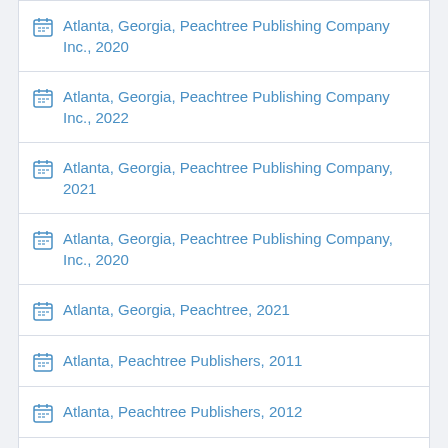Atlanta, Georgia, Peachtree Publishing Company Inc., 2020
Atlanta, Georgia, Peachtree Publishing Company Inc., 2022
Atlanta, Georgia, Peachtree Publishing Company, 2021
Atlanta, Georgia, Peachtree Publishing Company, Inc., 2020
Atlanta, Georgia, Peachtree, 2021
Atlanta, Peachtree Publishers, 2011
Atlanta, Peachtree Publishers, 2012
Atlanta, Peachtree Publishers, 2015
Atlanta, Peachtree Publishers, 2018